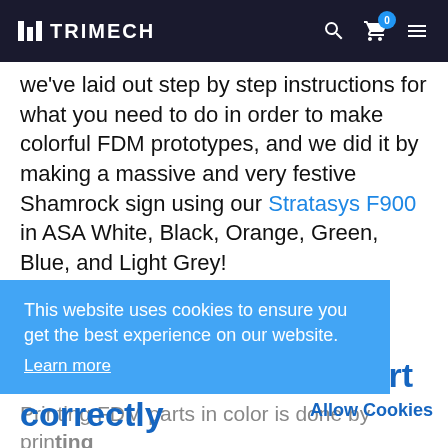TRIMECH
we've laid out step by step instructions for what you need to do in order to make colorful FDM prototypes, and we did it by making a massive and very festive Shamrock sign using our Stratasys F900 in ASA White, Black, Orange, Green, Blue, and Light Grey!
Follow along using your own 3D printer:
This website uses cookies to ensure you get the best experience on our website. Learn more
Step 1: Design your part correctly
Allow Cookies
Printing FDM parts in color is done by printing entire layers of a part using a single color, so